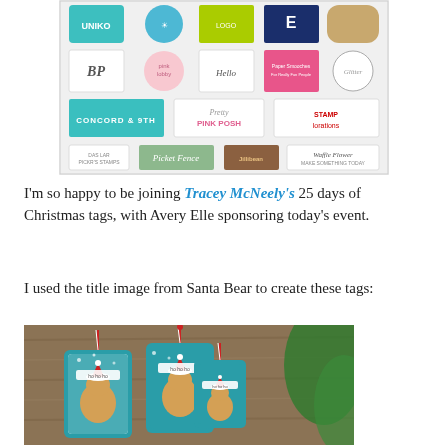[Figure (photo): A collage grid of various stamping/crafting brand logos including Uniko, Concord & 9th, Pretty Pink Posh, STAMPlorations, Waffle Flower, Picket Fence, and others arranged in rows.]
I'm so happy to be joining Tracey McNeely's 25 days of Christmas tags, with Avery Elle sponsoring today's event.
I used the title image from Santa Bear to create these tags:
[Figure (photo): Three handmade Christmas gift tags featuring a Santa Bear stamp image on teal/blue backgrounds, decorated with red and white baker's twine, displayed on a wooden surface with greenery.]